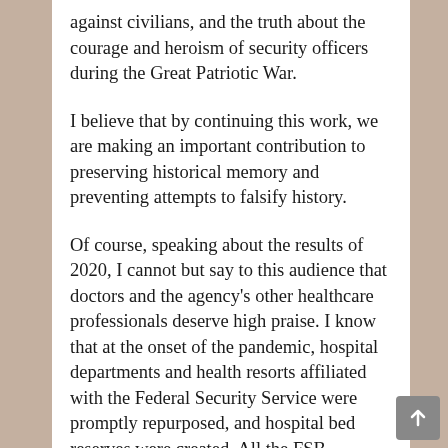against civilians, and the truth about the courage and heroism of security officers during the Great Patriotic War.
I believe that by continuing this work, we are making an important contribution to preserving historical memory and preventing attempts to falsify history.
Of course, speaking about the results of 2020, I cannot but say to this audience that doctors and the agency's other healthcare professionals deserve high praise. I know that at the onset of the pandemic, hospital departments and health resorts affiliated with the Federal Security Service were promptly repurposed, and hospital bed reserves were created. All the FSB departments received and continue to receive